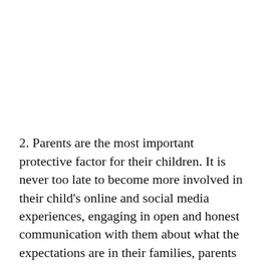2. Parents are the most important protective factor for their children. It is never too late to become more involved in their child's online and social media experiences, engaging in open and honest communication with them about what the expectations are in their families, parents